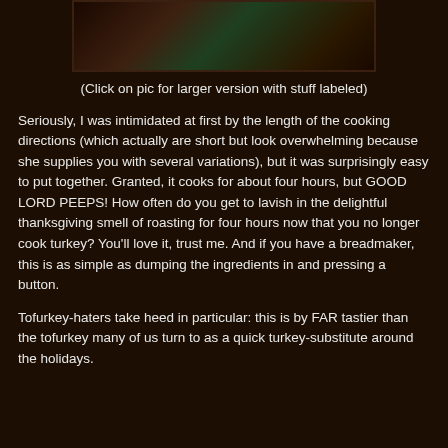[Figure (photo): A partial view of a plate of food, appears to be a Thanksgiving or holiday dish with annotations/labels visible on the image. The image is cropped showing only the top portion.]
(Click on pic for larger version with stuff labeled)
Seriously, I was intimidated at first by the length of the cooking directions (which actually are short but look overwhelming because she supplies you with several variations), but it was surprisingly easy to put together. Granted, it cooks for about four hours, but GOOD LORD PEEPS! How often do you get to lavish in the delightful thanksgiving smell of roasting for four hours now that you no longer cook turkey? You'll love it, trust me. And if you have a breadmaker, this is as simple as dumping the ingredients in and pressing a button.
Tofurkey-haters take heed in particular: this is by FAR tastier than the tofurkey many of us turn to as a quick turkey-substitute around the holidays.